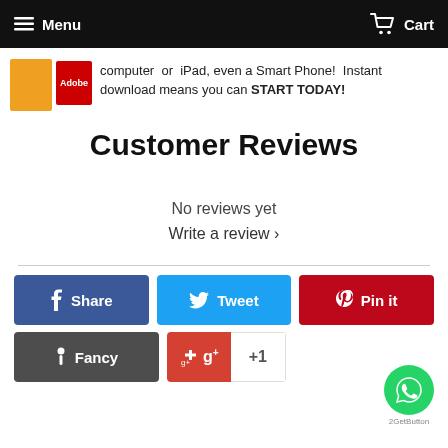Menu   Cart
[Figure (screenshot): Banner with orange book cover, Adobe PDF icon, and text about computer, iPad, Smart Phone download]
Customer Reviews
No reviews yet
Write a review ›
[Figure (infographic): Social share buttons: Facebook Share, Twitter Tweet, Pinterest Pin it, Fancy, Google +1]
[Figure (other): WhatsApp chat button (green circle) and GetButton label]